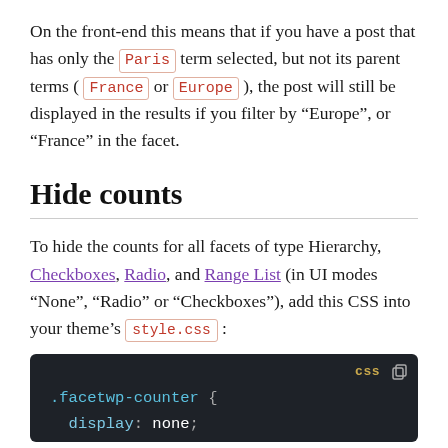On the front-end this means that if you have a post that has only the Paris term selected, but not its parent terms ( France or Europe ), the post will still be displayed in the results if you filter by "Europe", or "France" in the facet.
Hide counts
To hide the counts for all facets of type Hierarchy, Checkboxes, Radio, and Range List (in UI modes "None", "Radio" or "Checkboxes"), add this CSS into your theme's style.css :
[Figure (screenshot): Dark-themed code block showing CSS: .facetwp-counter { display: none; with a 'css' label badge and copy icon in the top right corner.]